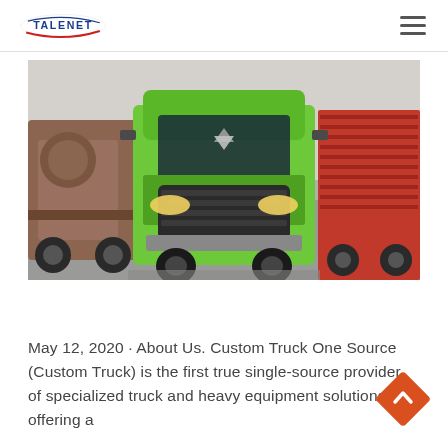TALENET
[Figure (photo): Front view of a bright green heavy truck (HOWO/Sinotruk style) parked in a showroom. Red cargo truck visible on the right, brown tanker on the left.]
May 12, 2020 · About Us. Custom Truck One Source (Custom Truck) is the first true single-source provider of specialized truck and heavy equipment solutions, offering a